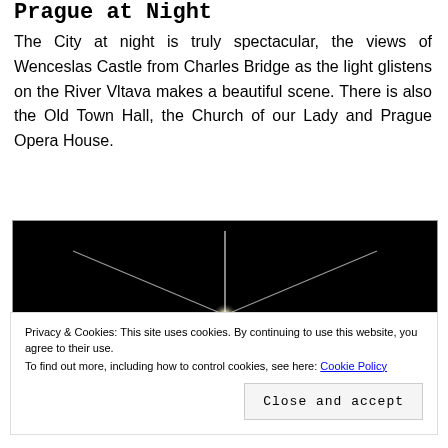Prague at Night
The City at night is truly spectacular, the views of Wenceslas Castle from Charles Bridge as the light glistens on the River Vltava makes a beautiful scene. There is also the Old Town Hall, the Church of our Lady and Prague Opera House.
[Figure (photo): Night photo of Prague showing a bright streetlight or illuminated lamp with starbursting light rays against a very dark black background.]
Privacy & Cookies: This site uses cookies. By continuing to use this website, you agree to their use.
To find out more, including how to control cookies, see here: Cookie Policy
Close and accept